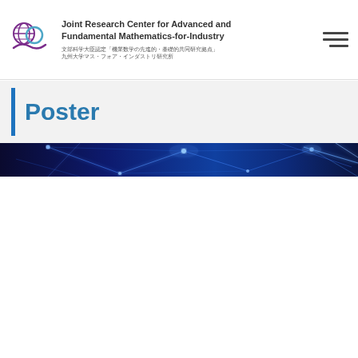Joint Research Center for Advanced and Fundamental Mathematics-for-Industry | 文部科学大臣認定「機業数学の先進的・基礎的共同研究拠点」九州大学マス・フォア・インダストリ研究所
Poster
[Figure (illustration): Decorative blue banner with abstract glowing geometric network/math lines on dark blue background]